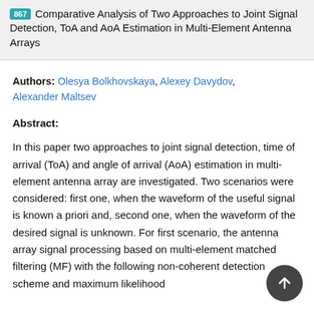867 Comparative Analysis of Two Approaches to Joint Signal Detection, ToA and AoA Estimation in Multi-Element Antenna Arrays
Authors: Olesya Bolkhovskaya, Alexey Davydov, Alexander Maltsev
Abstract:
In this paper two approaches to joint signal detection, time of arrival (ToA) and angle of arrival (AoA) estimation in multi-element antenna array are investigated. Two scenarios were considered: first one, when the waveform of the useful signal is known a priori and, second one, when the waveform of the desired signal is unknown. For first scenario, the antenna array signal processing based on multi-element matched filtering (MF) with the following non-coherent detection scheme and maximum likelihood